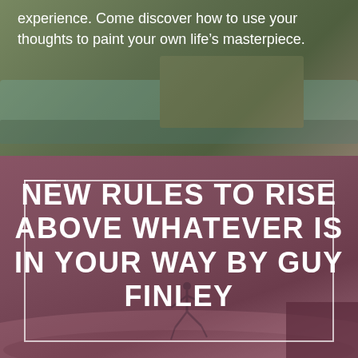experience. Come discover how to use your thoughts to paint your own life's masterpiece.
[Figure (illustration): Dark olive/green toned background image of a painting scene, partially visible at top of page]
[Figure (illustration): Mauve/rose-toned background image with silhouette of a jumping person and a dark rectangular shape at bottom right]
NEW RULES TO RISE ABOVE WHATEVER IS IN YOUR WAY BY GUY FINLEY